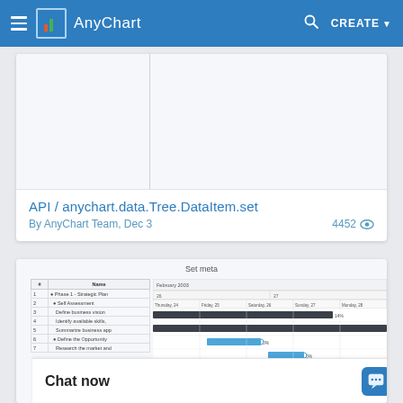AnyChart — CREATE
[Figure (screenshot): API / anychart.data.Tree.DataItem.set page preview — blank card with vertical divider]
API / anychart.data.Tree.DataItem.set
By AnyChart Team, Dec 3    4452 👁
[Figure (screenshot): Set meta — Gantt chart showing project phases with tasks: Phase 1 - Strategic Plan, Self Assessment, Define business vision, Identify available skills, Summarize business app, Define the Opportunity, Research the market and... with dates February 2003, columns Thursday 24, Friday 25, Saturday 26, Sunday 27, Monday 28]
Chat now